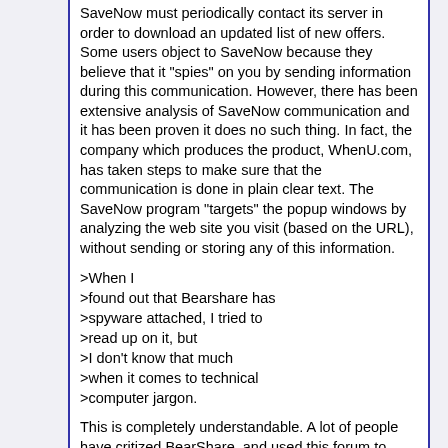SaveNow must periodically contact its server in order to download an updated list of new offers. Some users object to SaveNow because they believe that it "spies" on you by sending information during this communication. However, there has been extensive analysis of SaveNow communication and it has been proven it does no such thing. In fact, the company which produces the product, WhenU.com, has taken steps to make sure that the communication is done in plain clear text. The SaveNow program "targets" the popup windows by analyzing the web site you visit (based on the URL), without sending or storing any of this information.
>When I
>found out that Bearshare has
>spyware attached, I tried to
>read up on it, but
>I don't know that much
>when it comes to technical
>computer jargon.
This is completely understandable. A lot of people have critized BearShare, and used this forum to spread lies and misinformation.
BearShare does not have "spyware attached". It comes with three additional products from different companies which offer an optional installation. These products were selected because they protect your privacy and offer useful functions (like saving you money when you shop).